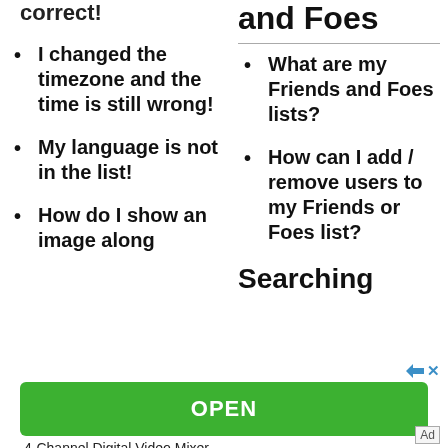correct!
and Foes
I changed the timezone and the time is still wrong!
What are my Friends and Foes lists?
How can I add / remove users to my Friends or Foes list?
My language is not in the list!
How do I show an image along
Searching
[Figure (other): Green OPEN button advertisement for 4-Channel Digital Video Mixer]
4-Channel Digital Video Mixer
Ad